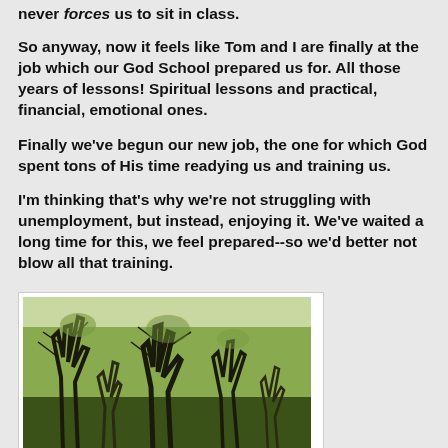never forces us to sit in class.
So anyway, now it feels like Tom and I are finally at the job which our God School prepared us for. All those years of lessons! Spiritual lessons and practical, financial, emotional ones.
Finally we've begun our new job, the one for which God spent tons of His time readying us and training us.
I'm thinking that's why we're not struggling with unemployment, but instead, enjoying it. We've waited a long time for this, we feel prepared--so we'd better not blow all that training.
[Figure (photo): Outdoor photo of bare trees with branches against a light sky, appearing to be taken in a wooded area during late autumn or early spring]